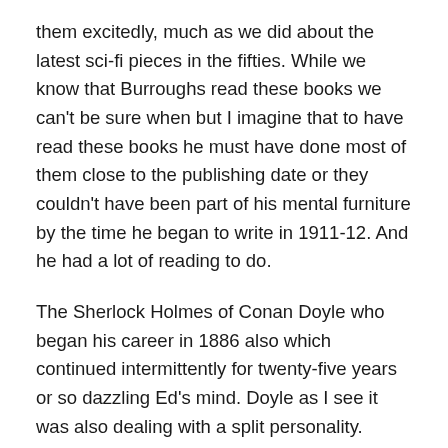them excitedly, much as we did about the latest sci-fi pieces in the fifties. While we know that Burroughs read these books we can't be sure when but I imagine that to have read these books he must have done most of them close to the publishing date or they couldn't have been part of his mental furniture by the time he began to write in 1911-12. And he had a lot of reading to do.
The Sherlock Holmes of Conan Doyle who began his career in 1886 also which continued intermittently for twenty-five years or so dazzling Ed's mind. Doyle as I see it was also dealing with a split personality. Holmes and his alter ego are essentially two aspects of the same personality. Watson belongs to the pre-scientific past while Holmes is the scientific thinking machine devoid of sympathy. Watson takes the sentimental side. In addition Doyle into also re thinks a meditation on the original